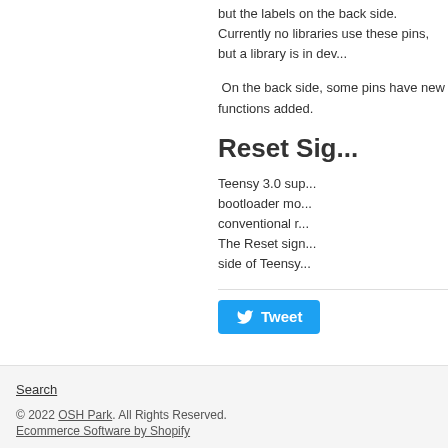but the labels on the back side. Currently no libraries use these pins, but a library is in dev...
On the back side, some pins have new functions added.
Reset Sig...
Teensy 3.0 sup... bootloader mo... conventional r... The Reset sign... side of Teensy...
Tweet
Search
© 2022 OSH Park. All Rights Reserved.
Ecommerce Software by Shopify